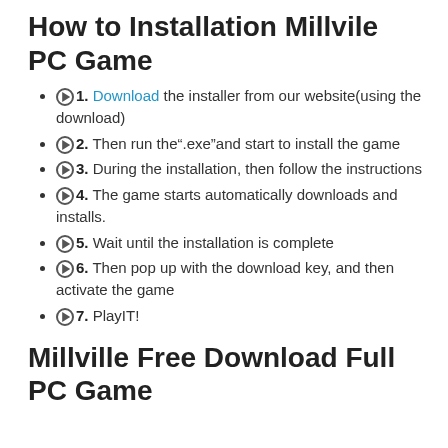How to Installation Millvile PC Game
1. Download the installer from our website(using the download)
2. Then run the".exe"and start to install the game
3. During the installation, then follow the instructions
4. The game starts automatically downloads and installs.
5. Wait until the installation is complete
6. Then pop up with the download key, and then activate the game
7. PlayIT!
Millville Free Download Full PC Game